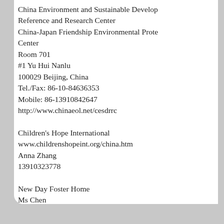China Environment and Sustainable Development Reference and Research Center
China-Japan Friendship Environmental Protection Center
Room 701
#1 Yu Hui Nanlu
100029 Beijing, China
Tel./Fax: 86-10-84636353
Mobile: 86-13910842647
http://www.chinaeol.net/cesdrrc
Children's Hope International
www.childrenshopeint.org/china.htm
Anna Zhang
13910323778
New Day Foster Home
Ms Chen
13031131973
http://newdaycreations.com/foster/front.htm